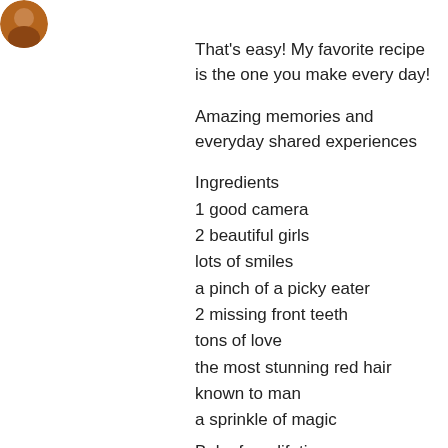[Figure (photo): Small circular avatar photo of a person, partially visible at top-left corner]
That's easy! My favorite recipe is the one you make every day!
Amazing memories and everyday shared experiences
Ingredients
1 good camera
2 beautiful girls
lots of smiles
a pinch of a picky eater
2 missing front teeth
tons of love
the most stunning red hair known to man
a sprinkle of magic
Bake for a lifetime